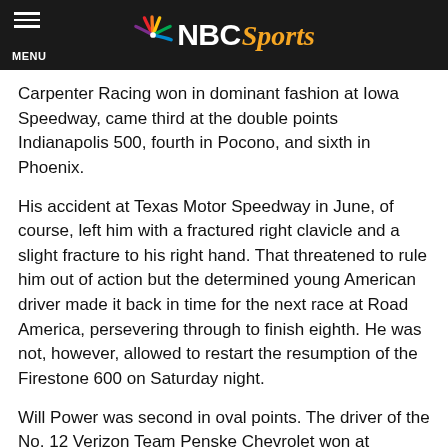NBC Sports
Carpenter Racing won in dominant fashion at Iowa Speedway, came third at the double points Indianapolis 500, fourth in Pocono, and sixth in Phoenix.
His accident at Texas Motor Speedway in June, of course, left him with a fractured right clavicle and a slight fracture to his right hand. That threatened to rule him out of action but the determined young American driver made it back in time for the next race at Road America, persevering through to finish eighth. He was not, however, allowed to restart the resumption of the Firestone 600 on Saturday night.
Will Power was second in oval points. The driver of the No. 12 Verizon Team Penske Chevrolet won at Pocono and added a second at Iowa, third in Phoenix, eighth in Texas and 10th in the Indianapolis 500.